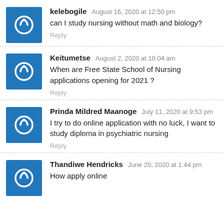kelebogile — August 16, 2020 at 12:50 pm
can I study nursing without math and biology?
Reply
Keitumetse — August 2, 2020 at 10:04 am
When are Free State School of Nursing applications opening for 2021 ?
Reply
Prinda Mildred Maanoge — July 11, 2020 at 9:53 pm
I try to do online application with no luck, I want to study diploma in psychiatric nursing
Reply
Thandiwe Hendricks — June 20, 2020 at 1:44 pm
How apply online